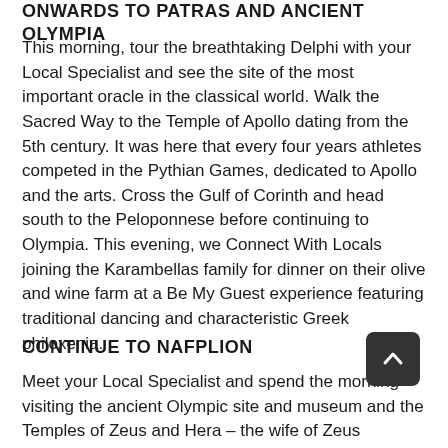ONWARDS TO PATRAS AND ANCIENT OLYMPIA
This morning, tour the breathtaking Delphi with your Local Specialist and see the site of the most important oracle in the classical world. Walk the Sacred Way to the Temple of Apollo dating from the 5th century. It was here that every four years athletes competed in the Pythian Games, dedicated to Apollo and the arts. Cross the Gulf of Corinth and head south to the Peloponnese before continuing to Olympia. This evening, we Connect With Locals joining the Karambellas family for dinner on their olive and wine farm at a Be My Guest experience featuring traditional dancing and characteristic Greek philoxenia.
CONTINUE TO NAFPLION
Meet your Local Specialist and spend the morning visiting the ancient Olympic site and museum and the Temples of Zeus and Hera – the wife of Zeus